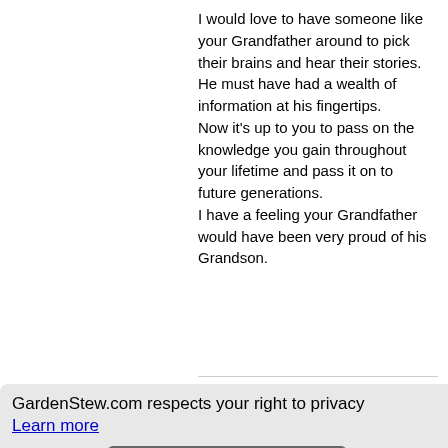I would love to have someone like your Grandfather around to pick their brains and hear their stories. He must have had a wealth of information at his fingertips.
Now it's up to you to pass on the knowledge you gain throughout your lifetime and pass it on to future generations.
I have a feeling your Grandfather would have been very proud of his Grandson.
GardenStew.com respects your right to privacy
Learn more
Close and don't show again